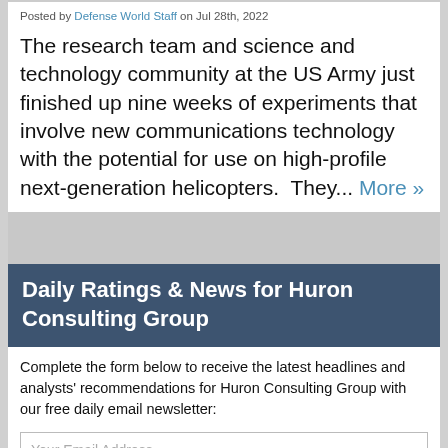Posted by Defense World Staff on Jul 28th, 2022
The research team and science and technology community at the US Army just finished up nine weeks of experiments that involve new communications technology with the potential for use on high-profile next-generation helicopters.  They... More »
Daily Ratings & News for Huron Consulting Group
Complete the form below to receive the latest headlines and analysts' recommendations for Huron Consulting Group with our free daily email newsletter:
Your Email Address